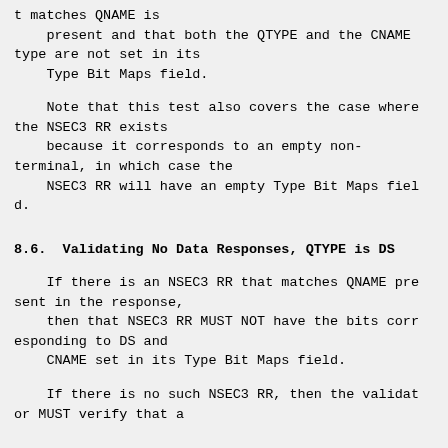t matches QNAME is
    present and that both the QTYPE and the CNAME type are not set in its
    Type Bit Maps field.
Note that this test also covers the case where the NSEC3 RR exists
    because it corresponds to an empty non-terminal, in which case the
    NSEC3 RR will have an empty Type Bit Maps field.
8.6.  Validating No Data Responses, QTYPE is DS
If there is an NSEC3 RR that matches QNAME present in the response,
    then that NSEC3 RR MUST NOT have the bits corresponding to DS and
    CNAME set in its Type Bit Maps field.
If there is no such NSEC3 RR, then the validator MUST verify that a